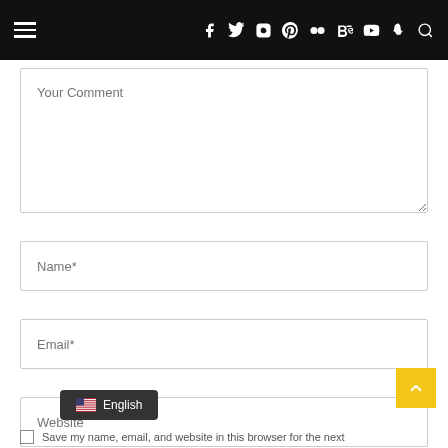Navigation bar with hamburger menu and social icons: f, twitter, instagram, pinterest, flickr, Be, youtube, snapchat, search
Your Comment
Name*
Email*
Website
English
Save my name, email, and website in this browser for the next